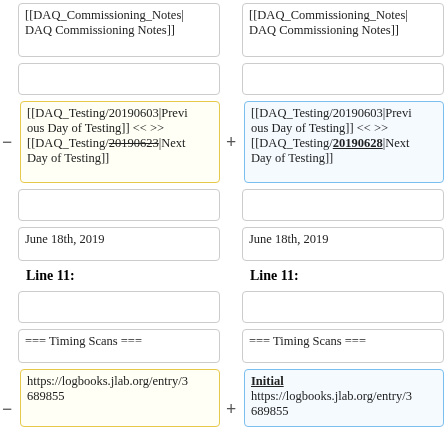[[DAQ_Commissioning_Notes|DAQ Commissioning Notes]]
[[DAQ_Commissioning_Notes|DAQ Commissioning Notes]]
[[DAQ_Testing/20190603|Previous Day of Testing]] << >> [[DAQ_Testing/20190623|Next Day of Testing]]
[[DAQ_Testing/20190603|Previous Day of Testing]] << >> [[DAQ_Testing/20190628|Next Day of Testing]]
June 18th, 2019
June 18th, 2019
Line 11:
Line 11:
=== Timing Scans ===
=== Timing Scans ===
https://logbooks.jlab.org/entry/3689855
Initial
https://logbooks.jlab.org/entry/3689855